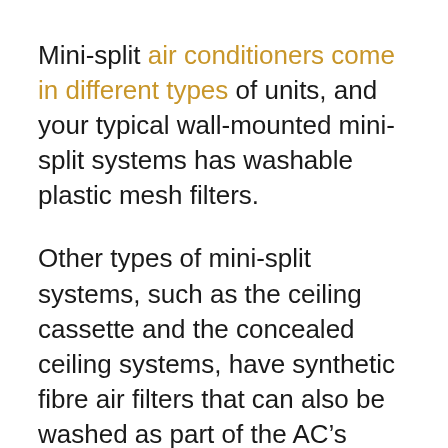Mini-split air conditioners come in different types of units, and your typical wall-mounted mini-split systems has washable plastic mesh filters.
Other types of mini-split systems, such as the ceiling cassette and the concealed ceiling systems, have synthetic fibre air filters that can also be washed as part of the AC’s maintenance.
For ceiling cassette mini-split units, the filter is on the inside of the front panel that is exposed below the ceiling. In ceiling concealed units, the filter is positioned right before the cooling coil